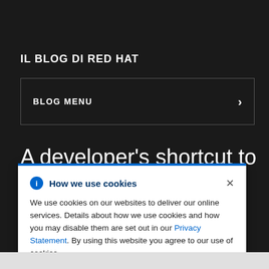IL BLOG DI RED HAT
BLOG MENU
A developer's shortcut to sible
How we use cookies
We use cookies on our websites to deliver our online services. Details about how we use cookies and how you may disable them are set out in our Privacy Statement. By using this website you agree to our use of cookies.